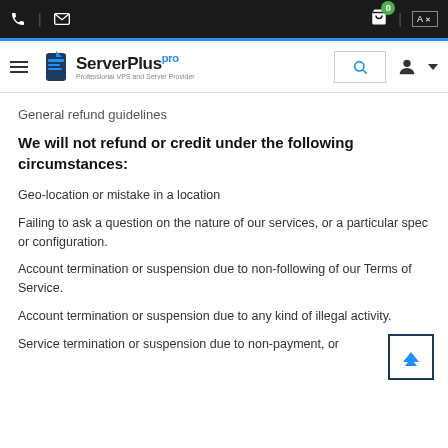ServerPlus Pro - navigation header with phone, mail, cart, language icons
General refund guidelines
We will not refund or credit under the following circumstances:
Geo-location or mistake in a location
Failing to ask a question on the nature of our services, or a particular spec or configuration.
Account termination or suspension due to non-following of our Terms of Service.
Account termination or suspension due to any kind of illegal activity.
Service termination or suspension due to non-payment, or